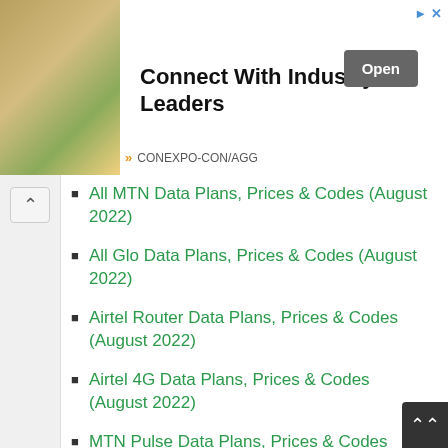[Figure (photo): Advertisement banner: yellow construction machinery with worker, 'Connect With Industry Leaders' headline, CONEXPO-CON/AGG sponsor, Open button]
All MTN Data Plans, Prices & Codes (August 2022)
All Glo Data Plans, Prices & Codes (August 2022)
Airtel Router Data Plans, Prices & Codes (August 2022)
Airtel 4G Data Plans, Prices & Codes (August 2022)
MTN Pulse Data Plans, Prices & Codes (August 2022)
MTN Monthly Data Plans, Prices & Codes (August 2022)
Spectranet Unlimited Data Plans and...